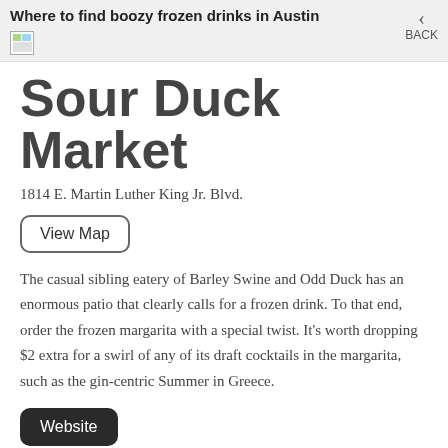Where to find boozy frozen drinks in Austin  BACK
Sour Duck Market
1814 E. Martin Luther King Jr. Blvd.
View Map
The casual sibling eatery of Barley Swine and Odd Duck has an enormous patio that clearly calls for a frozen drink. To that end, order the frozen margarita with a special twist. It's worth dropping $2 extra for a swirl of any of its draft cocktails in the margarita, such as the gin-centric Summer in Greece.
Website